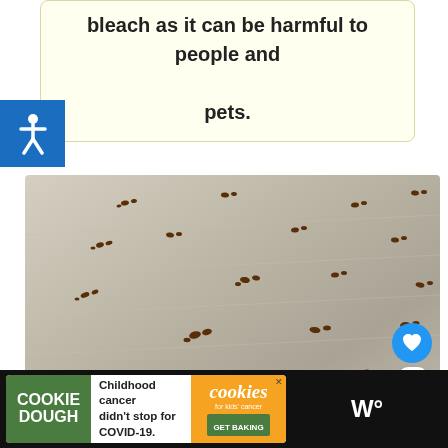bleach as it can be harmful to people and pets.
[Figure (photo): Close-up photo of many small ants crawling on a light-colored surface, viewed at an angle]
[Figure (infographic): Advertisement: COOKIE DOUGH – Childhood cancer didn't stop for COVID-19. Cookies for kids' cancer GET BAKING]